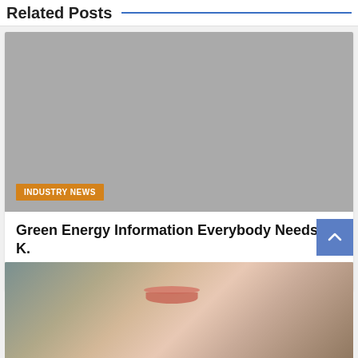Related Posts
[Figure (photo): Gray placeholder image with orange 'INDUSTRY NEWS' badge at bottom left]
Green Energy Information Everybody Needs To K.
19 mins ago
[Figure (photo): Photo of a woman's face close-up showing lips and earrings, with hands near her head]